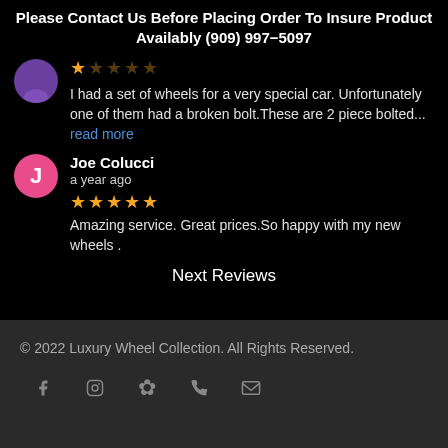Please Contact Us Before Placing Order To Insure Product Availably (909) 997-5097
I had a set of wheels for a very special car. Unfortunately one of them had a broken bolt.These are 2 piece bolted... read more
Joe Colucci
a year ago
Amazing service. Great prices.So happy with my new wheels .
Next Reviews
© 2022 Luxury Wheel Collection. All Rights Reserved.